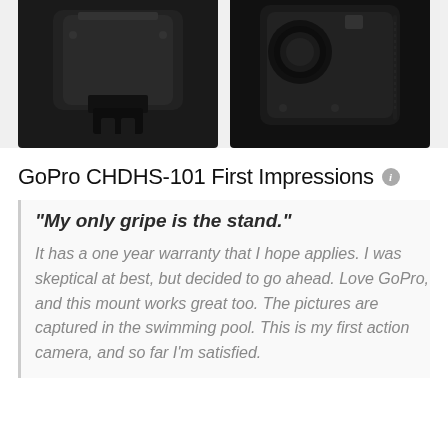[Figure (photo): Two GoPro camera product photos — left shows bottom/mounting view of camera, right shows back view of camera, both on light gray background]
GoPro CHDHS-101 First Impressions
"My only gripe is the stand." It has a one year warranty that I hope applies. I was skeptical at best, but decided to go ahead. Love GoPro, and this mount works great too. The pictures are captured in the swimming pool. This is my first action camera, and so far I'm satisfied.